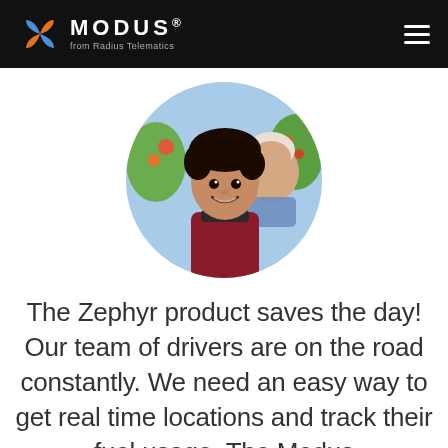MODUS® from Radius Telematics
[Figure (photo): Circular cropped photo of a teenage boy with curly dark hair smiling, with an older man visible behind him, outdoor setting with flowers]
The Zephyr product saves the day! Our team of drivers are on the road constantly. We need an easy way to get real time locations and track their fuel usage. The Modus